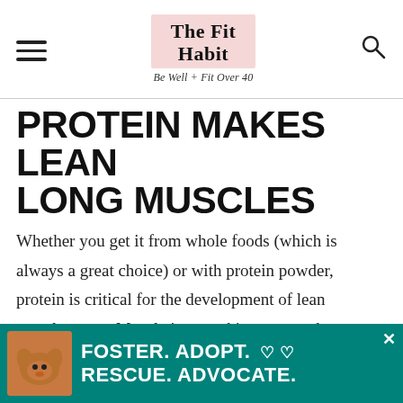The Fit Habit — Be Well + Fit Over 40
PROTEIN MAKES LEAN LONG MUSCLES
Whether you get it from whole foods (which is always a great choice) or with protein powder, protein is critical for the development of lean muscle mass. Muscle is something near and dear to my heart these days, not just for aesthetic reasons, but also because we lose muscle mass we age. This is why older folks...
[Figure (infographic): Advertisement banner: teal background with a dog photo, text reading FOSTER. ADOPT. RESCUE. ADVOCATE.]